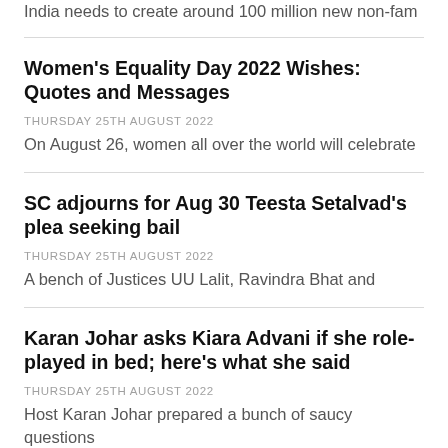India needs to create around 100 million new non-fam
Women's Equality Day 2022 Wishes: Quotes and Messages
THURSDAY 25TH AUGUST 2022
On August 26, women all over the world will celebrate
SC adjourns for Aug 30 Teesta Setalvad's plea seeking bail
THURSDAY 25TH AUGUST 2022
A bench of Justices UU Lalit, Ravindra Bhat and
Karan Johar asks Kiara Advani if she role-played in bed; here's what she said
THURSDAY 25TH AUGUST 2022
Host Karan Johar prepared a bunch of saucy questions